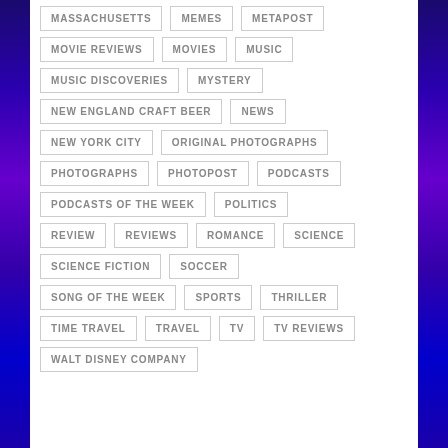MASSACHUSETTS
MEMES
METAPOST
MOVIE REVIEWS
MOVIES
MUSIC
MUSIC DISCOVERIES
MYSTERY
NEW ENGLAND CRAFT BEER
NEWS
NEW YORK CITY
ORIGINAL PHOTOGRAPHS
PHOTOGRAPHS
PHOTOPOST
PODCASTS
PODCASTS OF THE WEEK
POLITICS
REVIEW
REVIEWS
ROMANCE
SCIENCE
SCIENCE FICTION
SOCCER
SONG OF THE WEEK
SPORTS
THRILLER
TIME TRAVEL
TRAVEL
TV
TV REVIEWS
WALT DISNEY COMPANY